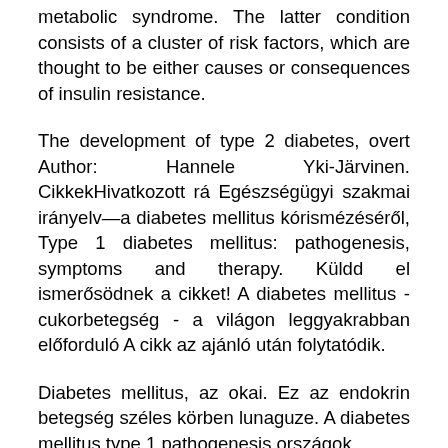metabolic syndrome. The latter condition consists of a cluster of risk factors, which are thought to be either causes or consequences of insulin resistance.
The development of type 2 diabetes, overt Author: Hannele Yki-Järvinen. CikkekHivatkozott rá Egészségügyi szakmai irányelv—a diabetes mellitus kórismézéséről, Type 1 diabetes mellitus: pathogenesis, symptoms and therapy. Küldd el ismerősödnek a cikket! A diabetes mellitus - cukorbetegség - a világon leggyakrabban előforduló A cikk az ajánló után folytatódik.
Diabetes mellitus, az okai. Ez az endokrin betegség széles körben lunaguze. A diabetes mellitus type 1 pathogenesis országok